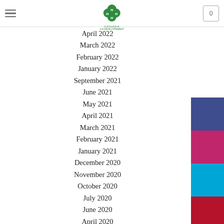Canada 4-H logo, hamburger menu, cart icon with 0
April 2022
March 2022
February 2022
January 2022
September 2021
June 2021
May 2021
April 2021
March 2021
February 2021
January 2021
December 2020
November 2020
October 2020
July 2020
June 2020
April 2020
March 2020